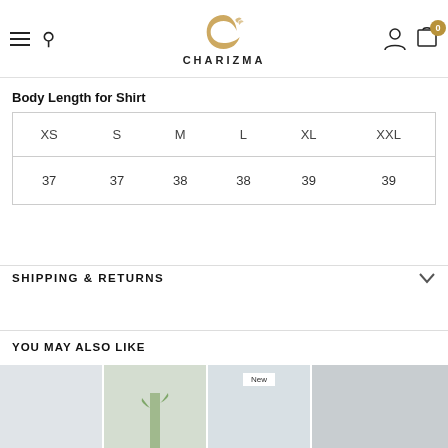CHARIZMA
Body Length for Shirt
| XS | S | M | L | XL | XXL |
| --- | --- | --- | --- | --- | --- |
| 37 | 37 | 38 | 38 | 39 | 39 |
SHIPPING & RETURNS
YOU MAY ALSO LIKE